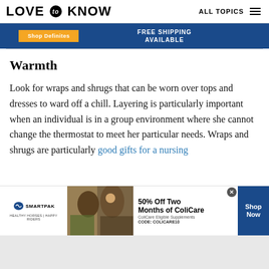LOVE to KNOW   ALL TOPICS
[Figure (screenshot): Partial advertisement banner with orange button and blue background showing FREE SHIPPING AVAILABLE]
Warmth
Look for wraps and shrugs that can be worn over tops and dresses to ward off a chill. Layering is particularly important when an individual is in a group environment where she cannot change the thermostat to meet her particular needs. Wraps and shrugs are particularly good gifts for a nursing
[Figure (screenshot): SmartPak advertisement: 50% Off Two Months of ColiCare, ColiCare Eligible Supplements, CODE: COLICARE10, Shop Now button]